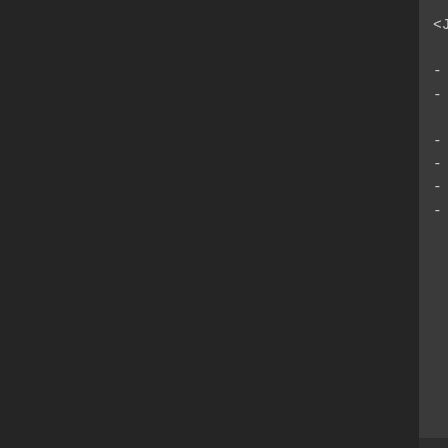<JS Dealt Element name Plus: co

- Used for: Actor, Class, Weap
- Alters the dealt elemental da  flat bonuses.
- Replace 'id' with the ID of t
- For 'name' notetag variant,
- Replace 'code' with JavaScrip
- Insert multiples of this note
---
<JS Dealt Element id Rate: code
<JS Dealt Element name Rate: co

- Used for: Actor, Class, Weapo
- Alters the dealt elemental da  before applying flat bonuses.
- Replace 'id' with the ID of t
- For 'name' notetag variant, n
- Replace 'code' with JavaScrip
- Insert multiples of this note